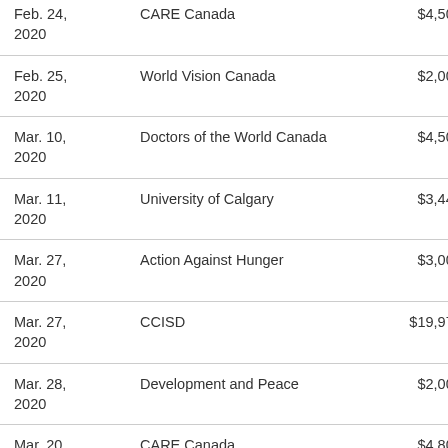| Date | Organization | Amount |
| --- | --- | --- |
| Feb. 24, 2020 | CARE Canada | $4,500,000 |
| Feb. 25, 2020 | World Vision Canada | $2,000,000 |
| Mar. 10, 2020 | Doctors of the World Canada | $4,500,000 |
| Mar. 11, 2020 | University of Calgary | $3,449,579 |
| Mar. 27, 2020 | Action Against Hunger | $3,000,000 |
| Mar. 27, 2020 | CCISD | $19,970,246 |
| Mar. 28, 2020 | Development and Peace | $2,000,000 |
| Mar. 20, ... | CARE Canada | $4,800,000 |